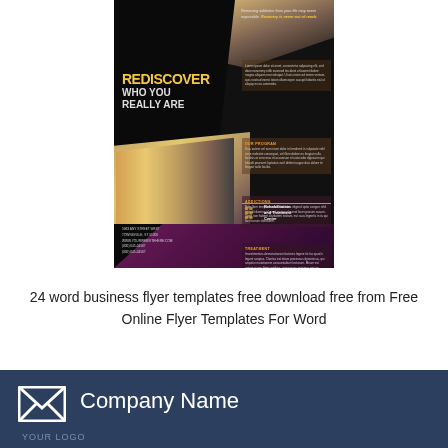[Figure (illustration): Rehabilitation and Treatment Center flyer template with dark background, large yellow text 'REDISCOVER WHO YOU REALLY ARE', photo of a woman, tagline 'Removing addiction from your life may seem impossible. Recovery is never out of reach.' with body copy sections: OUR PROGRAM, ADDICTIONS, TREATMENT, and a logo area.]
24 word business flyer templates free download free from Free Online Flyer Templates For Word
[Figure (screenshot): Partial business card or letterhead template with dark navy background, email/envelope icon, and text 'Company Name' in white, with 'YOUR LOGO' label below.]